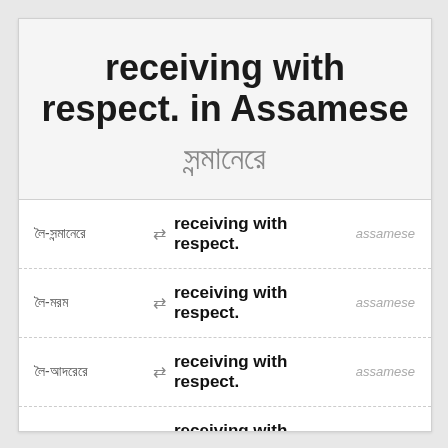receiving with respect. in Assamese সন্মানেৰে
লৈ-সন্মানেৰে ⇄ receiving with respect. assamese
লৈ-মৰম ⇄ receiving with respect. assamese
লৈ-আদৰেৰে ⇄ receiving with respect. assamese
গ্ৰহণ-সন্মানেৰে ⇄ receiving with respect. assamese